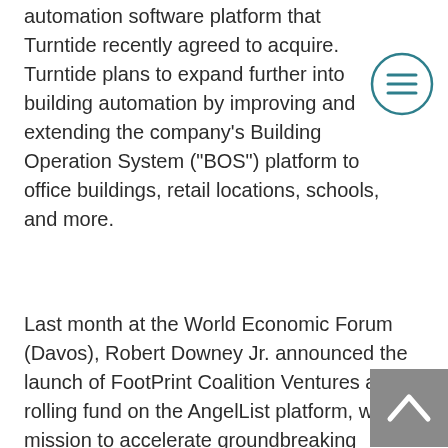automation software platform that Turntide recently agreed to acquire. Turntide plans to expand further into building automation by improving and extending the company's Building Operation System ("BOS") platform to office buildings, retail locations, schools, and more.
[Figure (other): Circular menu/hamburger icon with teal border and three horizontal teal lines]
Last month at the World Economic Forum (Davos), Robert Downey Jr. announced the launch of FootPrint Coalition Ventures as a rolling fund on the AngelList platform, with a mission to accelerate groundbreaking sustainable technologies through both investment and a unique content strategy that aims to turn complex subjects into culture-defining content. "Turntide's technology
[Figure (other): Grey square scroll-to-top button with upward-pointing chevron arrow]